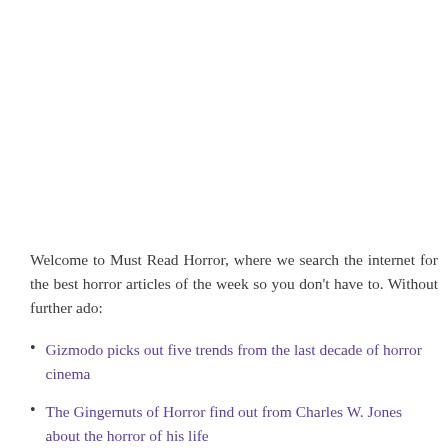Welcome to Must Read Horror, where we search the internet for the best horror articles of the week so you don't have to. Without further ado:
Gizmodo picks out five trends from the last decade of horror cinema
The Gingernuts of Horror find out from Charles W. Jones about the horror of his life